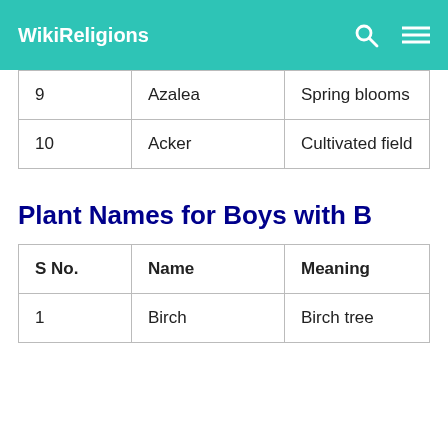WikiReligions
| S No. | Name | Meaning |
| --- | --- | --- |
| 9 | Azalea | Spring blooms |
| 10 | Acker | Cultivated field |
Plant Names for Boys with B
| S No. | Name | Meaning |
| --- | --- | --- |
| 1 | Birch | Birch tree |